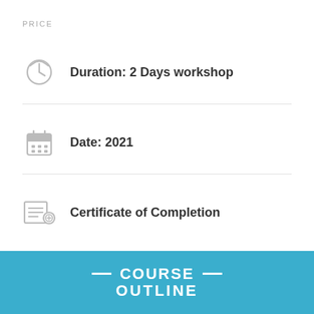PRICE
Duration: 2 Days workshop
Date: 2021
Certificate of Completion
COURSE OUTLINE